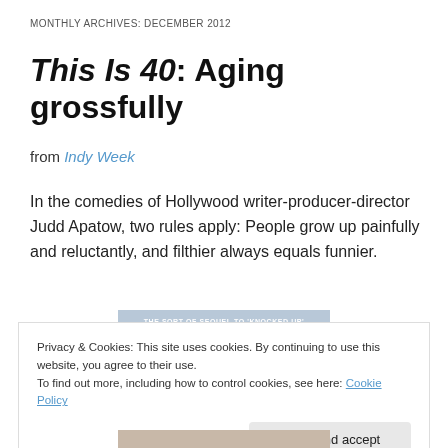MONTHLY ARCHIVES: DECEMBER 2012
This Is 40: Aging grossfully
from Indy Week
In the comedies of Hollywood writer-producer-director Judd Apatow, two rules apply: People grow up painfully and reluctantly, and filthier always equals funnier.
[Figure (photo): Movie promotional image for This Is 40 with text 'THE SORT-OF SEQUEL TO KNOCKED UP']
Privacy & Cookies: This site uses cookies. By continuing to use this website, you agree to their use.
To find out more, including how to control cookies, see here: Cookie Policy
Close and accept